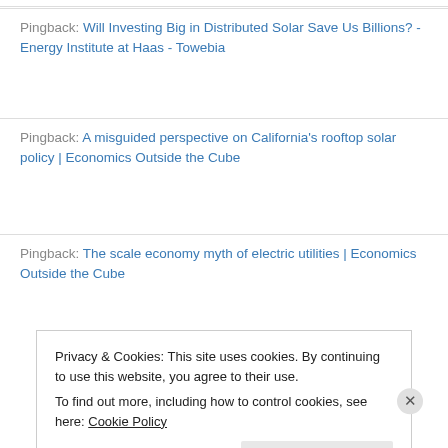Pingback: Will Investing Big in Distributed Solar Save Us Billions? - Energy Institute at Haas - Towebia
Pingback: A misguided perspective on California's rooftop solar policy | Economics Outside the Cube
Pingback: The scale economy myth of electric utilities | Economics Outside the Cube
Privacy & Cookies: This site uses cookies. By continuing to use this website, you agree to their use.
To find out more, including how to control cookies, see here: Cookie Policy
Close and accept